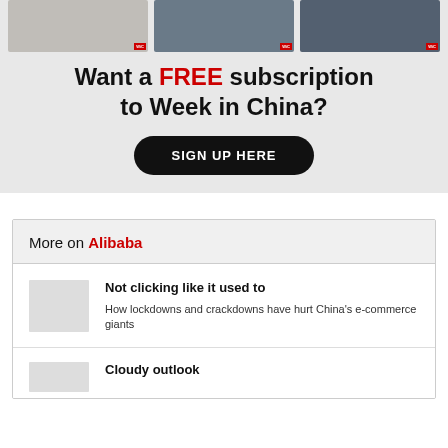[Figure (infographic): Three photo thumbnails at the top of a promotional banner area]
Want a FREE subscription to Week in China?
SIGN UP HERE
More on Alibaba
Not clicking like it used to
How lockdowns and crackdowns have hurt China's e-commerce giants
Cloudy outlook